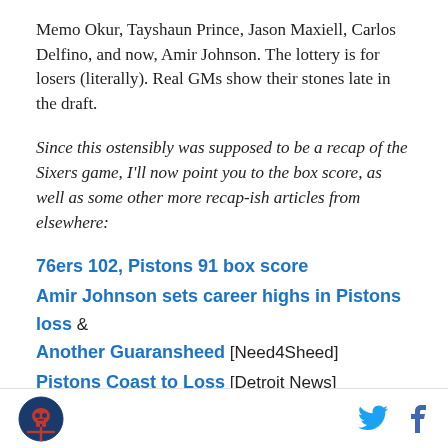Memo Okur, Tayshaun Prince, Jason Maxiell, Carlos Delfino, and now, Amir Johnson. The lottery is for losers (literally). Real GMs show their stones late in the draft.
Since this ostensibly was supposed to be a recap of the Sixers game, I'll now point you to the box score, as well as some other more recap-ish articles from elsewhere:
76ers 102, Pistons 91 box score
Amir Johnson sets career highs in Pistons loss & Another Guaransheed [Need4Sheed]
Pistons Coast to Loss [Detroit News]
Pistons lolleygag and lose to Sixers [Detroit Free